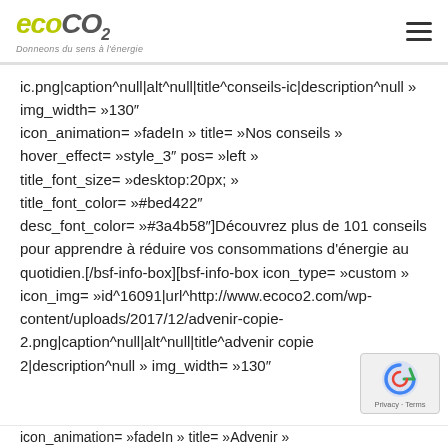eco CO2 — Donneons du sens à l'énergie
ic.png|caption^null|alt^null|title^conseils-ic|description^null » img_width= »130″ icon_animation= »fadeIn » title= »Nos conseils » hover_effect= »style_3″ pos= »left » title_font_size= »desktop:20px; » title_font_color= »#bed422″ desc_font_color= »#3a4b58″]Découvrez plus de 101 conseils pour apprendre à réduire vos consommations d'énergie au quotidien.[/bsf-info-box][bsf-info-box icon_type= »custom » icon_img= »id^16091|url^http://www.ecoco2.com/wp-content/uploads/2017/12/advenir-copie-2.png|caption^null|alt^null|title^advenir copie 2|description^null » img_width= »130″ icon_animation= »fadeIn » title= »Advenir »